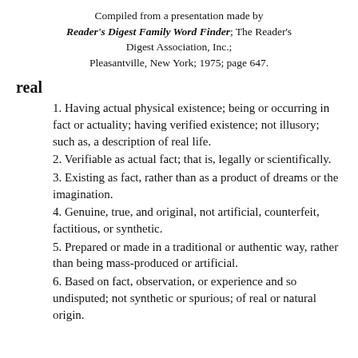Compiled from a presentation made by Reader's Digest Family Word Finder; The Reader's Digest Association, Inc.; Pleasantville, New York; 1975; page 647.
real
1. Having actual physical existence; being or occurring in fact or actuality; having verified existence; not illusory; such as, a description of real life.
2. Verifiable as actual fact; that is, legally or scientifically.
3. Existing as fact, rather than as a product of dreams or the imagination.
4. Genuine, true, and original, not artificial, counterfeit, factitious, or synthetic.
5. Prepared or made in a traditional or authentic way, rather than being mass-produced or artificial.
6. Based on fact, observation, or experience and so undisputed; not synthetic or spurious; of real or natural origin.